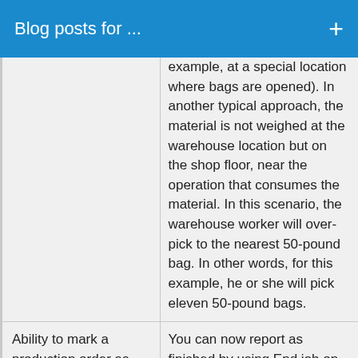Blog posts for ...
example, at a special location where bags are opened). In another typical approach, the material is not weighed at the warehouse location but on the shop floor, near the operation that consumes the material. In this scenario, the warehouse worker will over-pick to the nearest 50-pound bag. In other words, for this example, he or she will pick eleven 50-pound bags.
Ability to mark a production order as ended when you are reporting as finished, even while ...
You can now report as finished by using End job on the hand-held device. When you report as production ...